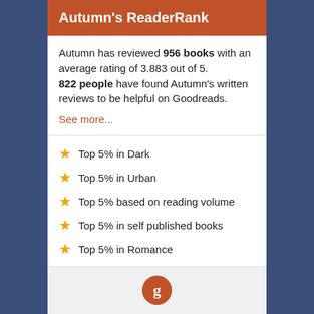Autumn's ReaderRank
Autumn has reviewed 956 books with an average rating of 3.883 out of 5.
822 people have found Autumn's written reviews to be helpful on Goodreads.
See more...
Top 5% in Dark
Top 5% in Urban
Top 5% based on reading volume
Top 5% in self published books
Top 5% in Romance